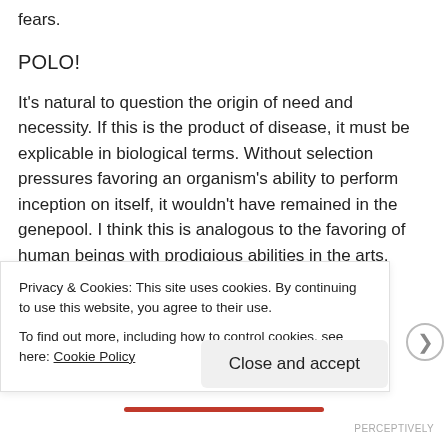fears.
POLO!
It's natural to question the origin of need and necessity. If this is the product of disease, it must be explicable in biological terms. Without selection pressures favoring an organism's ability to perform inception on itself, it wouldn't have remained in the genepool. I think this is analogous to the favoring of human beings with prodigious abilities in the arts, music, and mathematics. This is another type of peacocking
Privacy & Cookies: This site uses cookies. By continuing to use this website, you agree to their use.
To find out more, including how to control cookies, see here: Cookie Policy
Close and accept